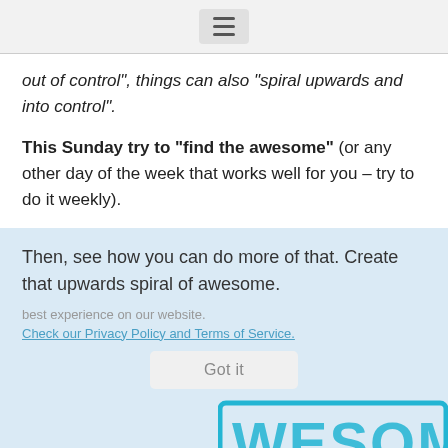☰
out of control", things can also "spiral upwards and into control".
This Sunday try to "find the awesome" (or any other day of the week that works well for you – try to do it weekly).
Then, see how you can do more of that. Create that upwards spiral of awesome.
best experience on our website. Check our Privacy Policy and Terms of Service.
[Figure (screenshot): Got it button and AWESOME stamp partially visible at bottom of page]